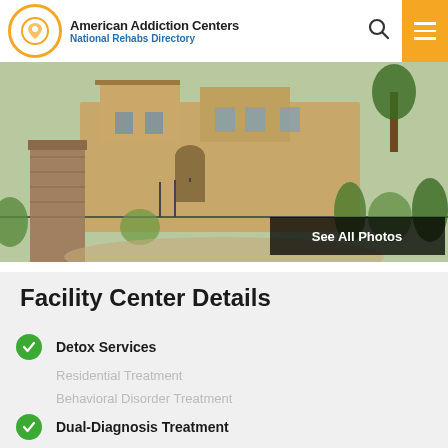American Addiction Centers - National Rehabs Directory
[Figure (photo): Exterior photo of a rehab facility with desert landscaping, stone pillars, and modern architecture]
See All Photos
Facility Center Details
Detox Services
Residential Treatment
Behavioral Disorder Treatment
Dual-Diagnosis Treatment
Inpatient